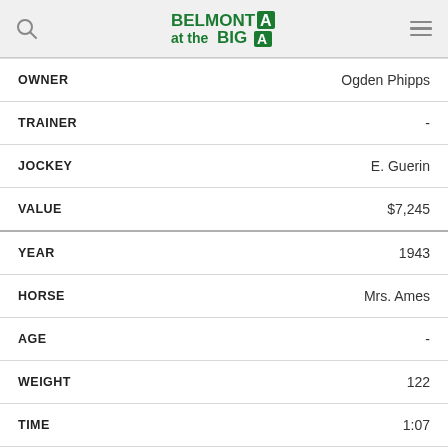BELMONT at the BIG A
| Field | Value |
| --- | --- |
| OWNER | Ogden Phipps |
| TRAINER | - |
| JOCKEY | E. Guerin |
| VALUE | $7,245 |
| YEAR | 1943 |
| HORSE | Mrs. Ames |
| AGE | - |
| WEIGHT | 122 |
| TIME | 1:07 |